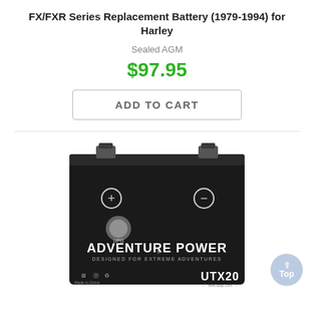FX/FXR Series Replacement Battery (1979-1994) for Harley
Sealed AGM
$97.95
ADD TO CART
[Figure (photo): Black motorcycle replacement battery labeled 'ADVENTURE POWER - DESIGNED FOR EXTREME ADVENTURES', model UTX20, with positive and negative terminal symbols at top, UPG logo, certification marks and 'Made in China' text at bottom left, www.upgci.com at bottom right.]